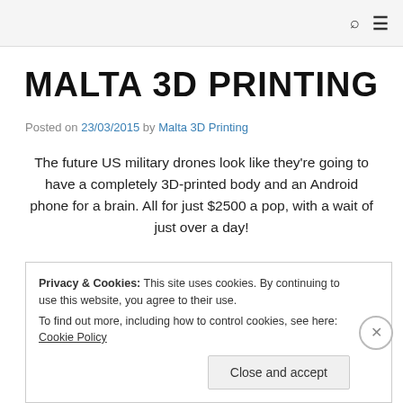MALTA 3D PRINTING
Posted on 23/03/2015 by Malta 3D Printing
The future US military drones look like they're going to have a completely 3D-printed body and an Android phone for a brain. All for just $2500 a pop, with a wait of just over a day!
Privacy & Cookies: This site uses cookies. By continuing to use this website, you agree to their use.
To find out more, including how to control cookies, see here: Cookie Policy
Close and accept